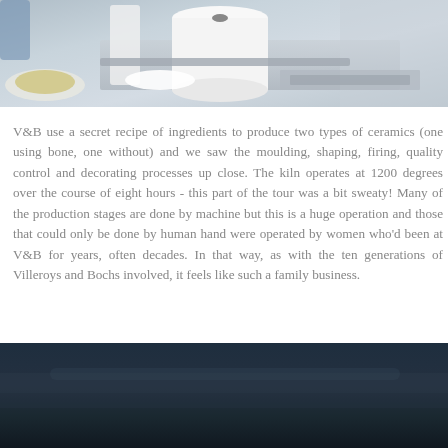[Figure (photo): Top portion of a photo showing white ceramic bowls and cylinders on a metal/gray surface in what appears to be a ceramics manufacturing facility]
V&B use a secret recipe of ingredients to produce two types of ceramics (one using bone, one without) and we saw the moulding, shaping, firing, quality control and decorating processes up close. The kiln operates at 1200 degrees over the course of eight hours - this part of the tour was a bit sweaty! Many of the production stages are done by machine but this is a huge operation and those that could only be done by human hand were operated by women who'd been at V&B for years, often decades. In that way, as with the ten generations of Villeroys and Bochs involved, it feels like such a family business.
[Figure (photo): Bottom portion of a dark photo, appearing to show a nighttime or dimly lit scene with dark blue-gray tones]